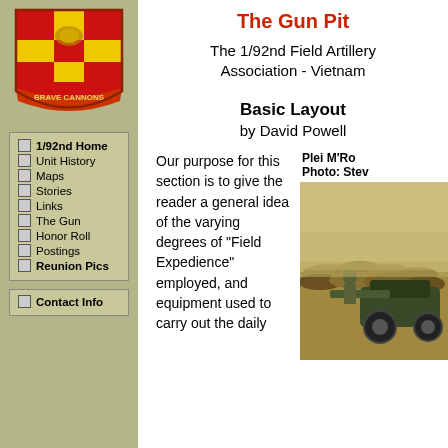[Figure (logo): 1/92nd Field Artillery military unit crest/shield: red background with yellow cross design and 'Brave Cannons' banner]
1/92nd Home
Unit History
Maps
Stories
Links
The Gun
Honor Roll
Postings
Reunion Pics
Contact Info
The Gun Pit
The 1/92nd Field Artillery Association - Vietnam
Basic Layout
by David Powell
Back
Our purpose for this section is to give the reader a general idea of the varying degrees of "Field Expedience" employed, and equipment used to carry out the daily
Plei M'Ro
Photo: Stev
[Figure (photo): Outdoor military field photo showing artillery equipment, vehicle, and soldier at Plei M'Ro, Vietnam]